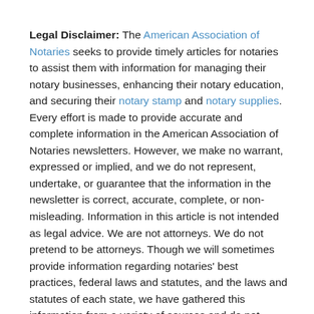Legal Disclaimer: The American Association of Notaries seeks to provide timely articles for notaries to assist them with information for managing their notary businesses, enhancing their notary education, and securing their notary stamp and notary supplies. Every effort is made to provide accurate and complete information in the American Association of Notaries newsletters. However, we make no warrant, expressed or implied, and we do not represent, undertake, or guarantee that the information in the newsletter is correct, accurate, complete, or non-misleading. Information in this article is not intended as legal advice. We are not attorneys. We do not pretend to be attorneys. Though we will sometimes provide information regarding notaries' best practices, federal laws and statutes, and the laws and statutes of each state, we have gathered this information from a variety of sources and do not warrant its accuracy. In no event shall the American Association of Notaries, its employees, or contractors be liable to you for any claims, penalties, loss, damage, or expenses, howsoever arising, including, and without limitation, direct or indirect loss or consequential loss out of or in connection with the use of the information contained in the American Association of Notaries